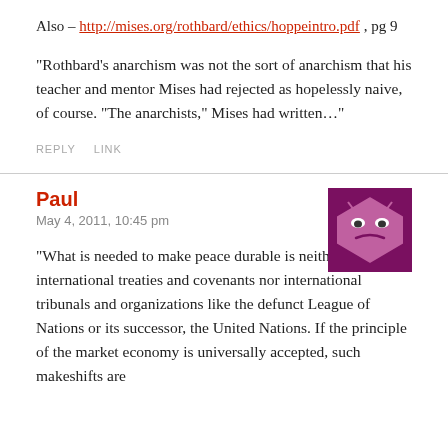Also – http://mises.org/rothbard/ethics/hoppeintro.pdf , pg 9
“Rothbard’s anarchism was not the sort of anarchism that his teacher and mentor Mises had rejected as hopelessly naive, of course. “The anarchists,” Mises had written…”
REPLY   LINK
Paul
May 4, 2011, 10:45 pm
“What is needed to make peace durable is neither international treaties and covenants nor international tribunals and organizations like the defunct League of Nations or its successor, the United Nations. If the principle of the market economy is universally accepted, such makeshifts are